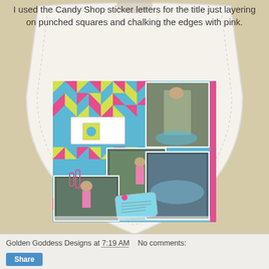I used the Candy Shop sticker letters for the title just layering on punched squares and chalking the edges with pink.
[Figure (photo): A scrapbook layout featuring multiple pool/swimming photos of children jumping and playing, arranged on a blue patterned background with colorful triangle quilt-pattern paper, overlapping photos, and a tag embellishment.]
Golden Goddess Designs at 7:19 AM    No comments: